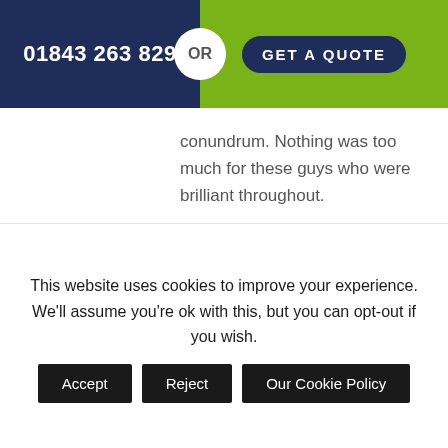01843 263 829 OR GET A QUOTE
conundrum. Nothing was too much for these guys who were brilliant throughout.
[Figure (other): Five green Trustpilot stars rating]
[Figure (other): Dark blue closing quotation marks]
Miss Carey
1 month ago
This website uses cookies to improve your experience. We'll assume you're ok with this, but you can opt-out if you wish.
Accept
Reject
Our Cookie Policy